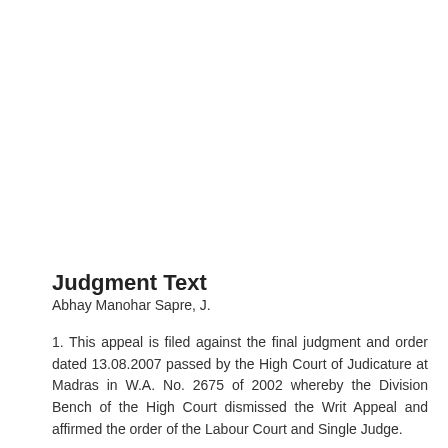Judgment Text
Abhay Manohar Sapre, J.
1. This appeal is filed against the final judgment and order dated 13.08.2007 passed by the High Court of Judicature at Madras in W.A. No. 2675 of 2002 whereby the Division Bench of the High Court dismissed the Writ Appeal and affirmed the order of the Labour Court and Single Judge.